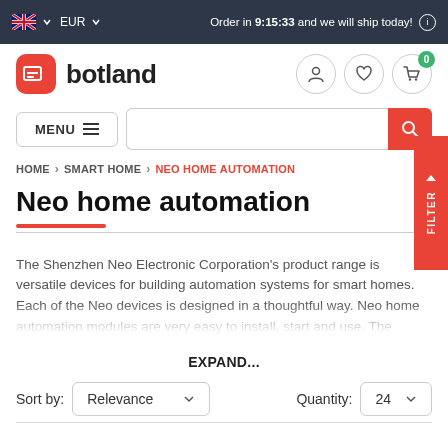EUR  Order in 9:15:33 and we will ship today!
[Figure (logo): Botland logo with red rounded square icon and 'botland' text]
HOME > SMART HOME > NEO HOME AUTOMATION
Neo home automation
The Shenzhen Neo Electronic Corporation's product range is versatile devices for building automation systems for smart homes. Each of the Neo devices is designed in a thoughtful way. Neo home automation modules are very easy to install, start and use. The
EXPAND...
Sort by: Relevance   Quantity: 24